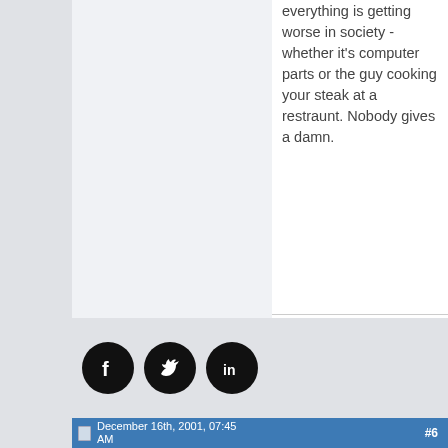everything is getting worse in society - whether it's computer parts or the guy cooking your steak at a restraunt. Nobody gives a damn.
Simply Astrid ...... or sometimes just "Simple Astrid!"
[Figure (infographic): Three social media icons in black circles: Facebook (f), Twitter (bird), LinkedIn (in)]
December 16th, 2001, 07:45 AM  #6
Shmoo
Member
Join Date:  Dec 2001
I couldnt agree with you more. Well said